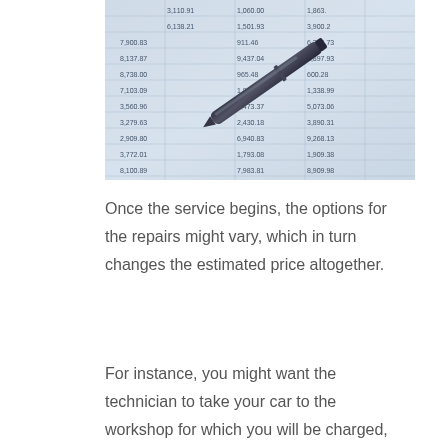[Figure (photo): A close-up photo of a pen resting on financial spreadsheet papers with columns of numbers, shown in blue-grey tones.]
Once the service begins, the options for the repairs might vary, which in turn changes the estimated price altogether.
For instance, you might want the technician to take your car to the workshop for which you will be charged, or you might want to go for